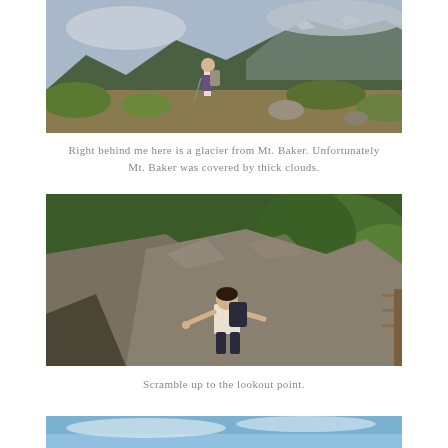[Figure (photo): Person standing on a mountain trail with hiking poles, green hillside and clouds/glacier from Mt. Baker visible in the background.]
Right behind me here is a glacier from Mt. Baker. Unfortunately Mt. Baker was covered by thick clouds.
[Figure (photo): Hiker scrambling up a steep rocky trail with lush green forest in the background, pulling themselves up over large boulders.]
Scramble up to the lookout point.
[Figure (photo): Partial view of a scenic mountain or sky view at the bottom of the page.]